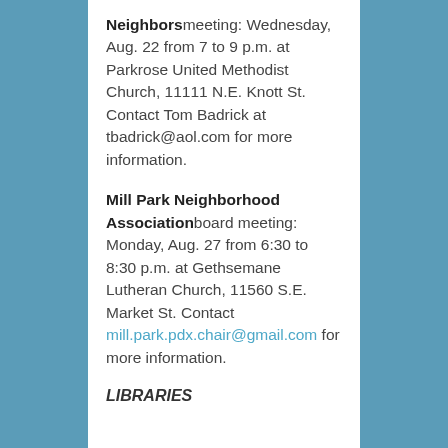Neighbors meeting: Wednesday, Aug. 22 from 7 to 9 p.m. at Parkrose United Methodist Church, 11111 N.E. Knott St. Contact Tom Badrick at tbadrick@aol.com for more information.
Mill Park Neighborhood Association board meeting: Monday, Aug. 27 from 6:30 to 8:30 p.m. at Gethsemane Lutheran Church, 11560 S.E. Market St. Contact mill.park.pdx.chair@gmail.com for more information.
LIBRARIES